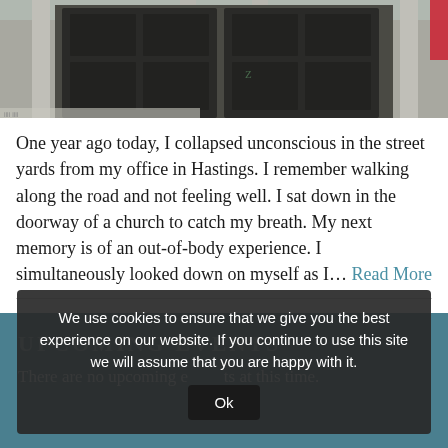[Figure (photo): Photograph of a church doorway with large dark wooden doors and stone columns]
One year ago today, I collapsed unconscious in the street yards from my office in Hastings. I remember walking along the road and not feeling well. I sat down in the doorway of a church to catch my breath. My next memory is of an out-of-body experience. I simultaneously looked down on myself as I… Read More
UPCOMING EVENTS
There are no upcoming events at this time.
We use cookies to ensure that we give you the best experience on our website. If you continue to use this site we will assume that you are happy with it.